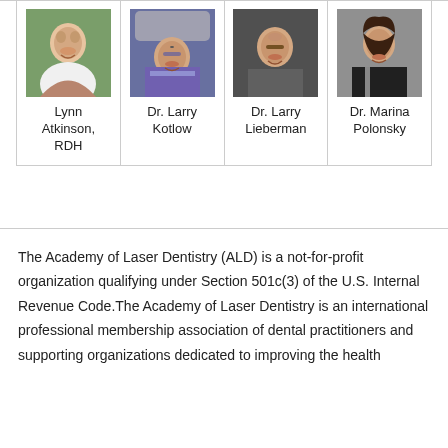[Figure (photo): Photo of Lynn Atkinson, RDH]
[Figure (photo): Photo of Dr. Larry Kotlow]
[Figure (photo): Photo of Dr. Larry Lieberman]
[Figure (photo): Photo of Dr. Marina Polonsky]
The Academy of Laser Dentistry (ALD) is a not-for-profit organization qualifying under Section 501c(3) of the U.S. Internal Revenue Code. The Academy of Laser Dentistry is an international professional membership association of dental practitioners and supporting organizations dedicated to improving the health